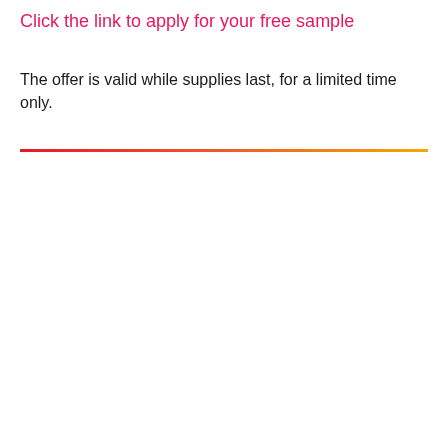Click the link to apply for your free sample
The offer is valid while supplies last, for a limited time only.
[Figure (other): Horizontal gradient divider line going from red on the left to yellow/orange on the right]